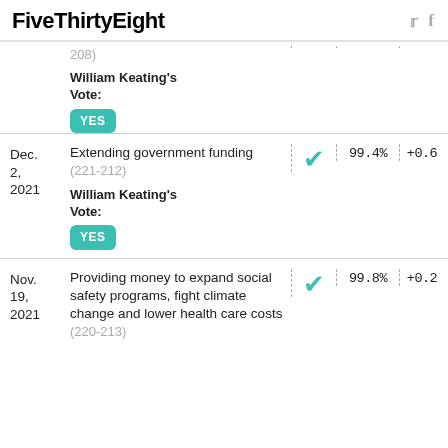FiveThirtyEight
| Date | Description | Match | % Same Party | Diff |
| --- | --- | --- | --- | --- |
|  | 208) |  |  |  |
|  | William Keating's Vote: YES |  |  |  |
| Dec. 2, 2021 | Extending government funding (221-212)
William Keating's Vote: YES | ✓ | 99.4% | +0.6 |
| Nov. 19, 2021 | Providing money to expand social safety programs, fight climate change and lower health care costs (220-213) | ✓ | 99.8% | +0.2 |